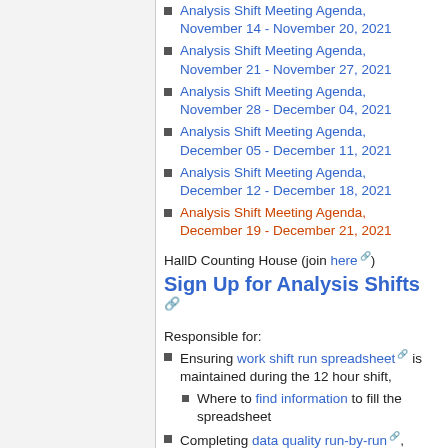Analysis Shift Meeting Agenda, November 14 - November 20, 2021
Analysis Shift Meeting Agenda, November 21 - November 27, 2021
Analysis Shift Meeting Agenda, November 28 - December 04, 2021
Analysis Shift Meeting Agenda, December 05 - December 11, 2021
Analysis Shift Meeting Agenda, December 12 - December 18, 2021
Analysis Shift Meeting Agenda, December 19 - December 21, 2021
HallD Counting House (join here)
Sign Up for Analysis Shifts
Responsible for:
Ensuring work shift run spreadsheet is maintained during the 12 hour shift,
Where to find information to fill the spreadsheet
Completing data quality run-by-run,